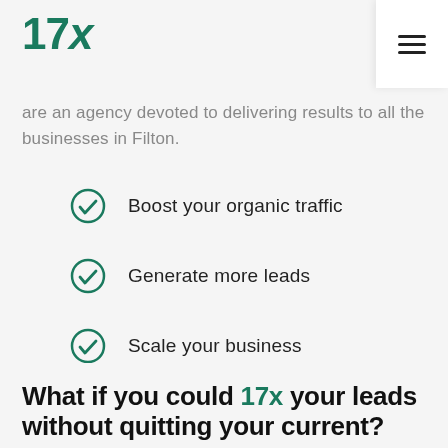17x
are an agency devoted to delivering results to all the businesses in Filton.
Boost your organic traffic
Generate more leads
Scale your business
What if you could 17x your leads without quitting your current?